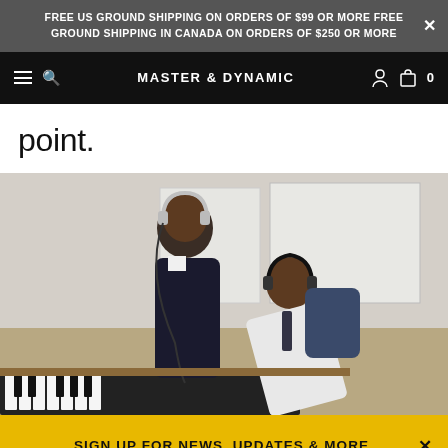FREE US GROUND SHIPPING ON ORDERS OF $99 OR MORE FREE GROUND SHIPPING IN CANADA ON ORDERS OF $250 OR MORE
MASTER & DYNAMIC
point.
[Figure (photo): Two young men wearing headphones working at a keyboard/piano in a classroom setting. One standing wearing a dark vest over white shirt, the other leaning forward wearing a white shirt with a backpack.]
SIGN UP FOR NEWS, UPDATES & MORE.